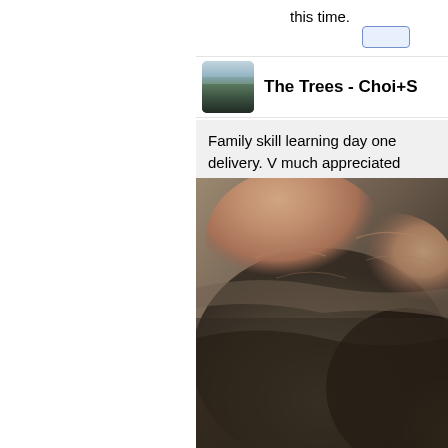this time.
The Trees - Choi+S
Family skill learning day one delivery. V much appreciate would have taken part had i
[Figure (photo): Close-up photo of a human hand touching or petting dark fur, likely an animal. The hand and fur fill the frame.]